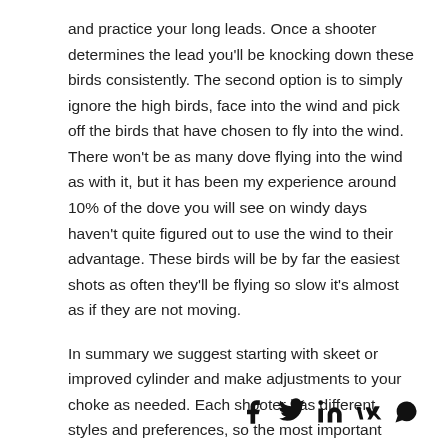and practice your long leads. Once a shooter determines the lead you'll be knocking down these birds consistently. The second option is to simply ignore the high birds, face into the wind and pick off the birds that have chosen to fly into the wind. There won't be as many dove flying into the wind as with it, but it has been my experience around 10% of the dove you will see on windy days haven't quite figured out to use the wind to their advantage. These birds will be by far the easiest shots as often they'll be flying so slow it's almost as if they are not moving.
In summary we suggest starting with skeet or improved cylinder and make adjustments to your choke as needed. Each shooter has different styles and preferences, so the most important issue related to shotgun chokes is to experiment and have fun!
[Figure (other): Social sharing icons: Facebook (f), Twitter/X (bird), LinkedIn (in), VK (VK), WhatsApp (phone in circle)]